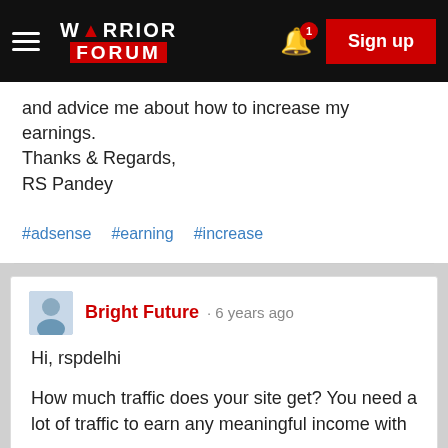Warrior Forum — Sign up
and advice me about how to increase my earnings.
Thanks & Regards,
RS Pandey
#adsense  #earning  #increase
Bright Future · 6 years ago

Hi, rspdelhi

How much traffic does your site get? You need a lot of traffic to earn any meaningful income with